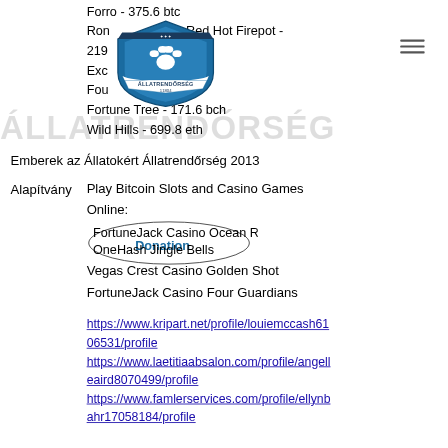[Figure (logo): Állatrendőrség shield logo with paw prints and the text ÁLLATRENDŐRSÉG 11804]
Forro - 375.6 btc
Ron ... ne Red Hot Firepot - 219...
Exc... c
Fou... dog
Fortune Tree - 171.6 bch
Wild Hills - 699.8 eth
Emberek az Állatokért Állatrendőrség 2013
Alapítvány
Play Bitcoin Slots and Casino Games Online:
FortuneJack Casino Ocean Reef
OneHash Jingle Bells
Vegas Crest Casino Golden Shot
FortuneJack Casino Four Guardians
https://www.kripart.net/profile/louiemccash6106531/profile
https://www.laetitiaabsalon.com/profile/angelleaird8070499/profile
https://www.famlerservices.com/profile/ellynbahr17058184/profile